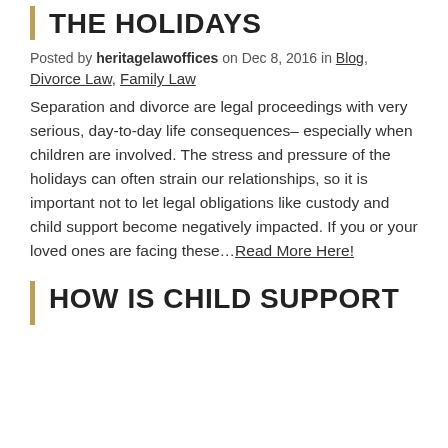THE HOLIDAYS
Posted by heritagelawoffices on Dec 8, 2016 in Blog,
Divorce Law, Family Law
Separation and divorce are legal proceedings with very serious, day-to-day life consequences– especially when children are involved. The stress and pressure of the holidays can often strain our relationships, so it is important not to let legal obligations like custody and child support become negatively impacted. If you or your loved ones are facing these…Read More Here!
HOW IS CHILD SUPPORT